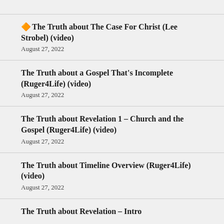🔶The Truth about The Case For Christ (Lee Strobel) (video)
August 27, 2022
The Truth about a Gospel That's Incomplete (Ruger4Life) (video)
August 27, 2022
The Truth about Revelation 1 – Church and the Gospel (Ruger4Life) (video)
August 27, 2022
The Truth about Timeline Overview (Ruger4Life) (video)
August 27, 2022
The Truth about Revelation – Intro